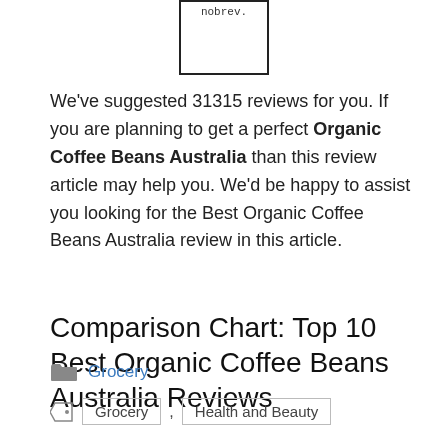[Figure (other): A box/placeholder image with the text 'nobrev.' inside at the top]
We've suggested 31315 reviews for you. If you are planning to get a perfect Organic Coffee Beans Australia than this review article may help you. We'd be happy to assist you looking for the Best Organic Coffee Beans Australia review in this article.
Comparison Chart: Top 10 Best Organic Coffee Beans Australia Reviews
Continue Reading
Grocery
Grocery , Health and Beauty